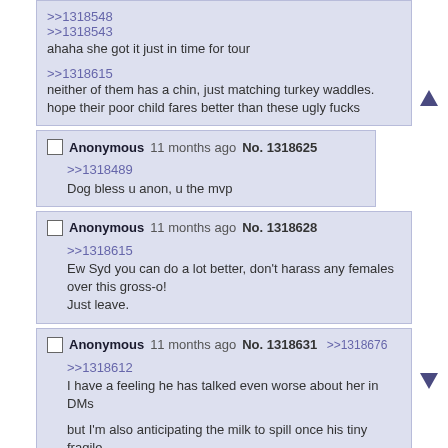>>1318548
>>1318543
ahaha she got it just in time for tour

>>1318615
neither of them has a chin, just matching turkey waddles. hope their poor child fares better than these ugly fucks
Anonymous 11 months ago No. 1318625
>>1318489
Dog bless u anon, u the mvp
Anonymous 11 months ago No. 1318628
>>1318615
Ew Syd you can do a lot better, don't harass any females over this gross-o!
Just leave.
Anonymous 11 months ago No. 1318631 >>1318676
>>1318612
I have a feeling he has talked even worse about her in DMs

but I'm also anticipating the milk to spill once his tiny fragile ego sees this shit. popcorn.gif
Anonymous 11 months ago No. 1318635